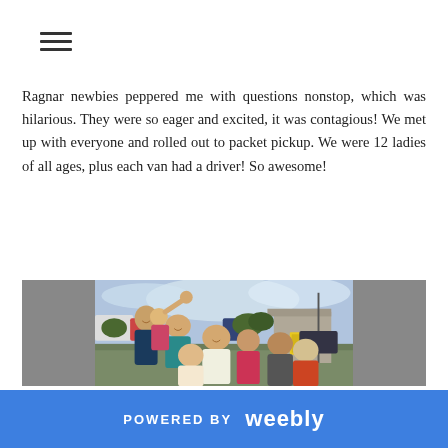≡
Ragnar newbies peppered me with questions nonstop, which was hilarious. They were so eager and excited, it was contagious! We met up with everyone and rolled out to packet pickup. We were 12 ladies of all ages, plus each van had a driver! So awesome!
[Figure (photo): Group of smiling women posing together outdoors in a parking lot, with vehicles and a building visible in the background. Some are waving at the camera.]
POWERED BY weebly